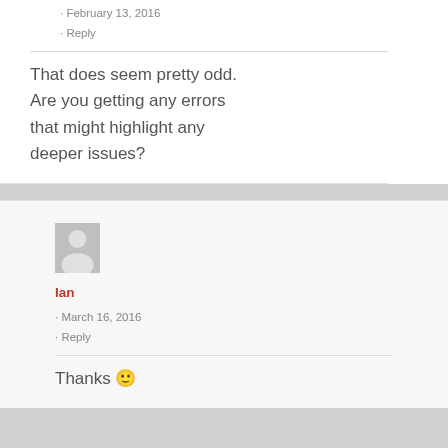· February 13, 2016
· Reply
That does seem pretty odd. Are you getting any errors that might highlight any deeper issues?
[Figure (illustration): Default grey avatar/placeholder image of a person silhouette]
Ian
· March 16, 2016
· Reply
Thanks 🙂